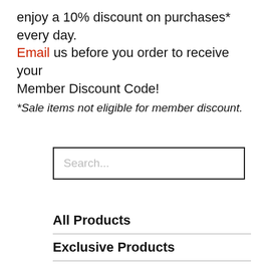enjoy a 10% discount on purchases* every day. Email us before you order to receive your Member Discount Code!
*Sale items not eligible for member discount.
Search...
All Products
Exclusive Products
Festival
Apparel